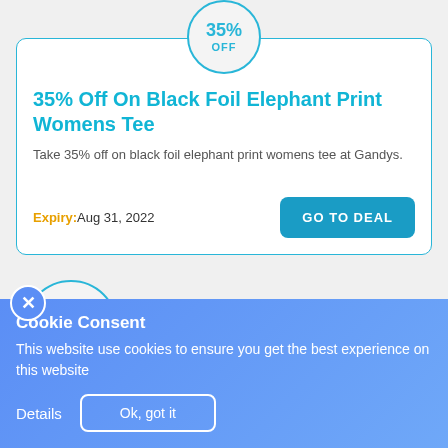[Figure (other): Circular badge showing 35% OFF discount indicator for first deal card]
35% Off On Black Foil Elephant Print Womens Tee
Take 35% off on black foil elephant print womens tee at Gandys.
Expiry: Aug 31, 2022
GO TO DEAL
[Figure (other): Circular badge showing 35% OFF discount indicator for second deal card]
35% Off On Chestnut Brown Pioneer
Cookie Consent
This website use cookies to ensure you get the best experience on this website
Details  Ok, got it